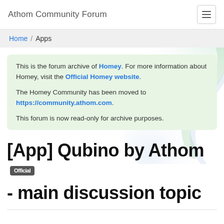Athom Community Forum
Home / Apps
This is the forum archive of Homey. For more information about Homey, visit the Official Homey website.

The Homey Community has been moved to https://community.athom.com.

This forum is now read-only for archive purposes.
[App] Qubino by Athom - main discussion topic